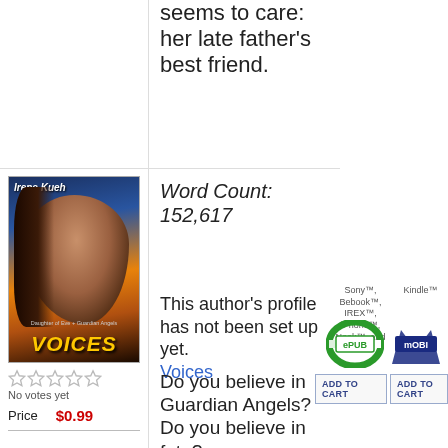seems to care: her late father's best friend.
Word Count: 152,617
[Figure (photo): Book cover for 'Voices' by Irene Kueh showing a woman's face against a dramatic background]
No votes yet
Price $0.99
This author's profile has not been set up yet. Voices
Sony™, Bebook™, IREX™, iPhone™, Nook™, and Hanlin
[Figure (logo): ePub format logo - green stylized e with ePUB text]
Kindle™
[Figure (logo): Mobi format logo - dark blue stylized M with mOBI text]
ADD TO CART
ADD TO CART
Do you believe in Guardian Angels? Do you believe in fate?